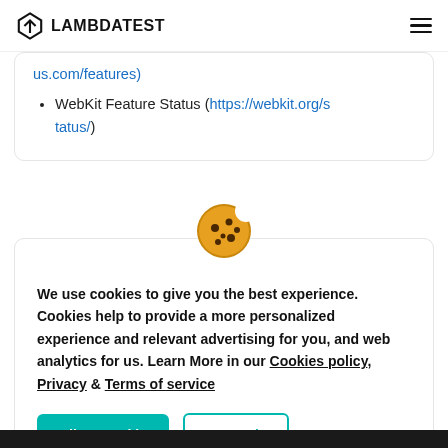LAMBDATEST
us.com/features)
WebKit Feature Status (https://webkit.org/status/)
We use cookies to give you the best experience. Cookies help to provide a more personalized experience and relevant advertising for you, and web analytics for us. Learn More in our Cookies policy, Privacy & Terms of service
Allow Cookie | Cancel